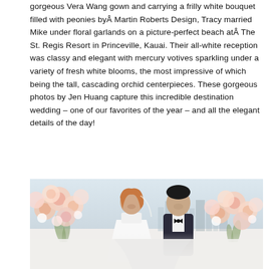gorgeous Vera Wang gown and carrying a frilly white bouquet filled with peonies by Martin Roberts Design, Tracy married Mike under floral garlands on a picture-perfect beach at The St. Regis Resort in Princeville, Kauai. Their all-white reception was classy and elegant with mercury votives sparkling under a variety of fresh white blooms, the most impressive of which being the tall, cascading orchid centerpieces. These gorgeous photos by Jen Huang capture this incredible destination wedding – one of our favorites of the year – and all the elegant details of the day!
SEE IT
[Figure (photo): Wedding photo of a bride and groom smiling together outdoors, surrounded by large floral arrangements of pink and white flowers on either side. The bride has auburn hair and wears a white dress; the groom wears a dark suit with bow tie. City skyline visible in soft focus background.]